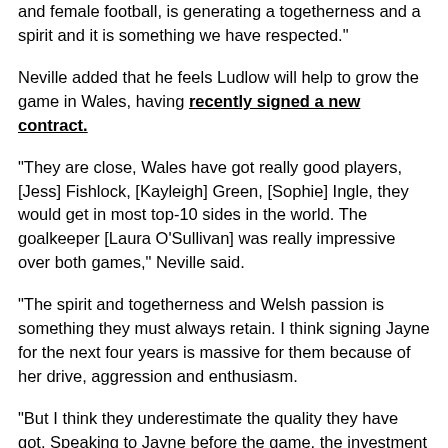and female football, is generating a togetherness and a spirit and it is something we have respected."
Neville added that he feels Ludlow will help to grow the game in Wales, having recently signed a new contract.
"They are close, Wales have got really good players, [Jess] Fishlock, [Kayleigh] Green, [Sophie] Ingle, they would get in most top-10 sides in the world. The goalkeeper [Laura O'Sullivan] was really impressive over both games," Neville said.
"The spirit and togetherness and Welsh passion is something they must always retain. I think signing Jayne for the next four years is massive for them because of her drive, aggression and enthusiasm.
"But I think they underestimate the quality they have got. Speaking to Jayne before the game, the investment needs to keep pouring in now.
"We are a long way ahead of Wales at the moment but I